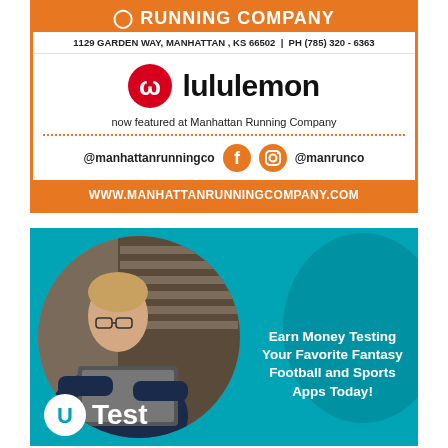1129 GARDEN WAY, MANHATTAN , KS 66502 | PH (785) 320 - 6363
[Figure (logo): lululemon logo with omega symbol and wordmark]
now featured at Manhattan Running Company
@manhattanrunningco @manrunco
WWW.MANHATTANRUNNINGCOMPANY.COM
[Figure (photo): uTest advertisement: young man with laptop, teal background, circular photo frame, blob shape, Earn Money Testing Your Favorite Fantasy Football and Sports Apps Today!, uTest branding at bottom]